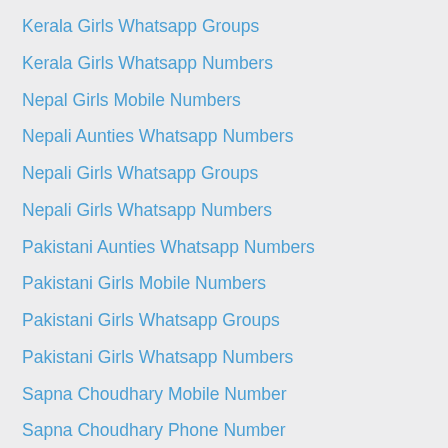Kerala Girls Whatsapp Groups
Kerala Girls Whatsapp Numbers
Nepal Girls Mobile Numbers
Nepali Aunties Whatsapp Numbers
Nepali Girls Whatsapp Groups
Nepali Girls Whatsapp Numbers
Pakistani Aunties Whatsapp Numbers
Pakistani Girls Mobile Numbers
Pakistani Girls Whatsapp Groups
Pakistani Girls Whatsapp Numbers
Sapna Choudhary Mobile Number
Sapna Choudhary Phone Number
Sapna Choudhary Whatsapp Groups
Sapna Choudhary Whatsapp Number
Sri Lanka Aunties Whatsapp Numbers